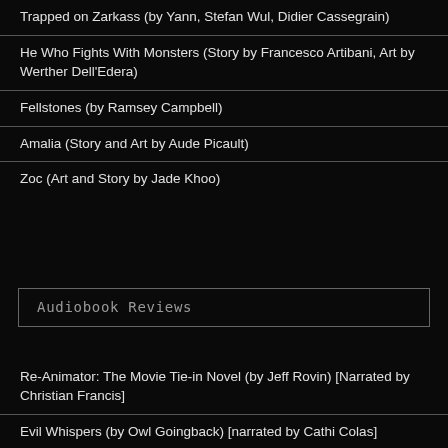Trapped on Zarkass (by Yann, Stefan Wul, Didier Cassegrain)
He Who Fights With Monsters (Story by Francesco Artibani, Art by Werther Dell'Edera)
Fellstones (by Ramsey Campbell)
Amalia (Story and Art by Aude Picault)
Zoc (Art and Story by Jade Khoo)
Audiobook Reviews
Re-Animator: The Movie Tie-in Novel (by Jeff Rovin) [Narrated by Christian Francis]
Evil Whispers (by Owl Goingback) [narrated by Cathi Colas]